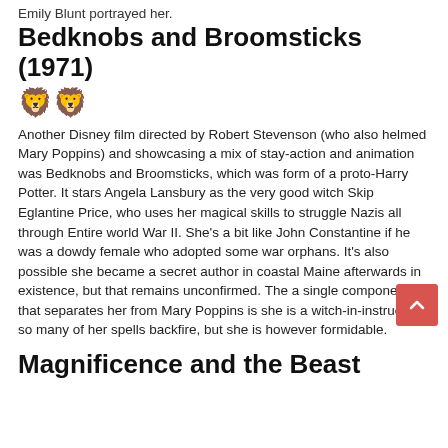Emily Blunt portrayed her.
Bedknobs and Broomsticks (1971)
[Figure (illustration): Small emoji-style illustration of two lions or animals]
Another Disney film directed by Robert Stevenson (who also helmed Mary Poppins) and showcasing a mix of stay-action and animation was Bedknobs and Broomsticks, which was form of a proto-Harry Potter. It stars Angela Lansbury as the very good witch Skip Eglantine Price, who uses her magical skills to struggle Nazis all through Entire world War II. She's a bit like John Constantine if he was a dowdy female who adopted some war orphans. It's also possible she became a secret author in coastal Maine afterwards in existence, but that remains unconfirmed. The a single component that separates her from Mary Poppins is she is a witch-in-instruction, so many of her spells backfire, but she is however formidable.
Magnificence and the Beast